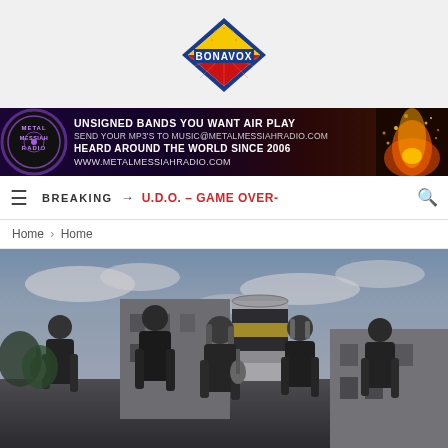[Figure (logo): Bonavox logo — diamond shape with blue border, red lower half with sunburst rays, yellow sun at top center, bold BONAVOX text in center]
[Figure (infographic): Metal Messiah Radio banner ad. Dark purple/black background. Left: circular logo with METAL MESSIAH RADIO text. Center: UNSIGNED BANDS YOU WANT AIR PLAY / SEND YOUR MP3'S TO MUSIC@METALMESSIAHRADIO.COM / HEARD AROUND THE WORLD SINCE 2006 / WWW.METALMESSIAHRADIO.COM. Right: fire/sparks explosion graphic.]
BREAKING → U.D.O. – GAME OVER-
Home > Home
[Figure (photo): Band photo of 5 musicians standing in front of an industrial building with a cylindrical tower striped in black and yellow. Overcast cloudy sky. Members hold guitars, wearing dark clothing. Black and white / desaturated color treatment.]